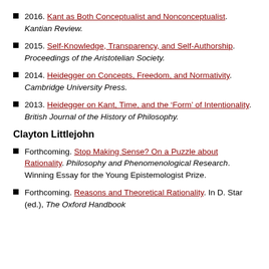2016. Kant as Both Conceptualist and Nonconceptualist. Kantian Review.
2015. Self-Knowledge, Transparency, and Self-Authorship. Proceedings of the Aristotelian Society.
2014. Heidegger on Concepts, Freedom, and Normativity. Cambridge University Press.
2013. Heidegger on Kant, Time, and the ‘Form’ of Intentionality. British Journal of the History of Philosophy.
Clayton Littlejohn
Forthcoming. Stop Making Sense? On a Puzzle about Rationality. Philosophy and Phenomenological Research. Winning Essay for the Young Epistemologist Prize.
Forthcoming. Reasons and Theoretical Rationality. In D. Star (ed.), The Oxford Handbook